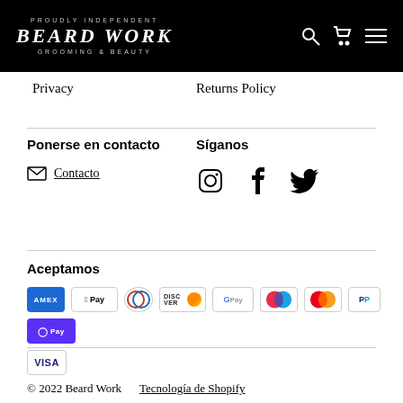PROUDLY INDEPENDENT BEARD WORK GROOMING & BEAUTY
Privacy
Returns Policy
Ponerse en contacto
Contacto
Síganos
[Figure (other): Instagram, Facebook, Twitter social media icons]
Aceptamos
[Figure (other): Payment method icons: American Express, Apple Pay, Diners Club, Discover, Google Pay, Maestro, Mastercard, PayPal, Shop Pay, Visa]
© 2022 Beard Work   Tecnología de Shopify